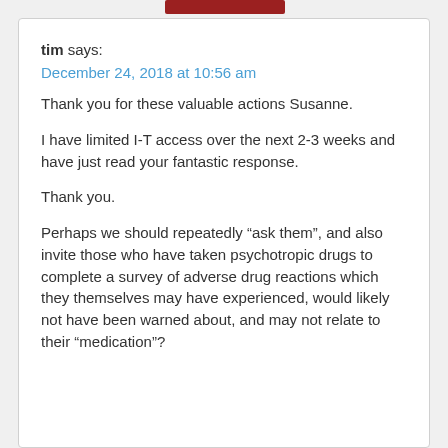tim says:
December 24, 2018 at 10:56 am
Thank you for these valuable actions Susanne.
I have limited I-T access over the next 2-3 weeks and have just read your fantastic response.
Thank you.
Perhaps we should repeatedly “ask them”, and also invite those who have taken psychotropic drugs to complete a survey of adverse drug reactions which they themselves may have experienced, would likely not have been warned about, and may not relate to their “medication”?